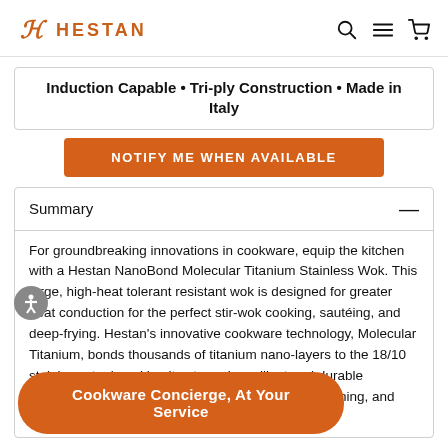HESTAN
Induction Capable • Tri-ply Construction • Made in Italy
NOTIFY ME WHEN AVAILABLE
Summary
For groundbreaking innovations in cookware, equip the kitchen with a Hestan NanoBond Molecular Titanium Stainless Wok. This large, high-heat tolerant resistant wok is designed for greater heat conduction for the perfect stir-wok cooking, sautéing, and deep-frying. Hestan's innovative cookware technology, Molecular Titanium, bonds thousands of titanium nano-layers to the 18/10 stainless steel, making it extremely resilient and durable stainless steel, making it resistant to scratching, staining, and salt pitting.
Cookware Concierge, At Your Service